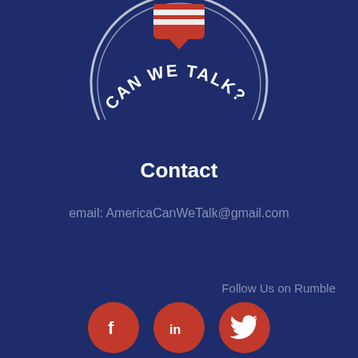[Figure (logo): Partial circular logo with text 'CAN WE TALK?' curved along the bottom arc, with a red and white striped speech bubble icon at top center, on a dark navy blue background]
Contact
email: AmericaCanWeTalk@gmail.com
Follow Us on Rumble
[Figure (illustration): Three red circular social media icons: Facebook (f), LinkedIn (in), Twitter (bird)]
FRIENDS OF THE SHOW: